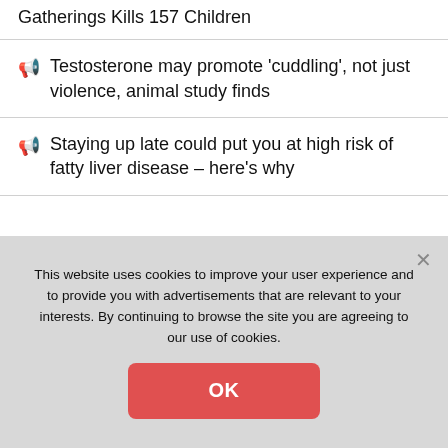Gatherings Kills 157 Children
Testosterone may promote 'cuddling', not just violence, animal study finds
Staying up late could put you at high risk of fatty liver disease – here's why
This website uses cookies to improve your user experience and to provide you with advertisements that are relevant to your interests. By continuing to browse the site you are agreeing to our use of cookies.